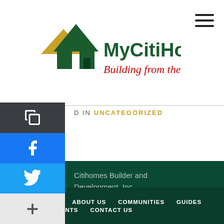[Figure (logo): MyCitiHomes logo with house/roof icon in green and gold, text 'MyCitiHomes' in dark green, tagline 'Building from the heart.' in red cursive]
D IN UNCATEGORIZED
Citihomes Builder and Development, Inc.
THE PROMISE   ABOUT US   COMMUNITIES   GUIDES   NEWS AND EVENTS   CONTACT US